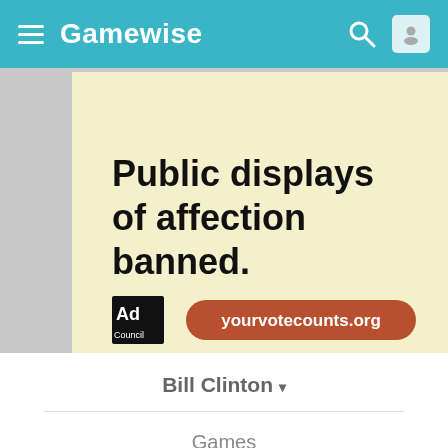Gamewise
[Figure (infographic): Ad Council advertisement on a notepad-style background with text 'Public displays of affection banned.' and URL yourvotecounts.org]
Bill Clinton ▾
Games
Overview
Updates